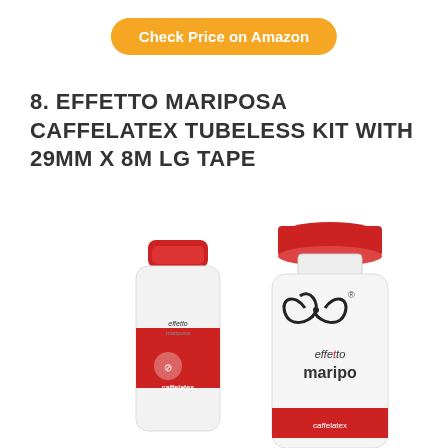Check Price on Amazon
8. EFFETTO MARIPOSA CAFFELATEX TUBELESS KIT WITH 29MM X 8M LG TAPE
[Figure (photo): Two Effetto Mariposa Caffelatex product bottles — a small white bottle with red cap on the left and a larger white sports bottle with red cap on the right, both with Effetto Mariposa branding and logos visible.]